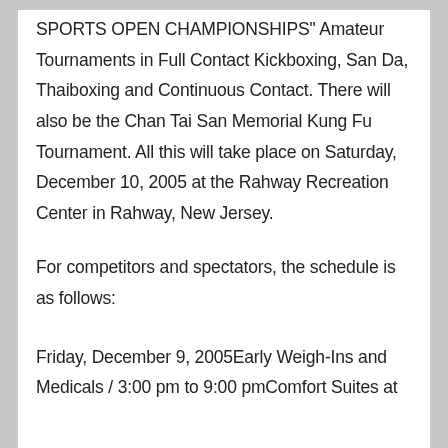SPORTS OPEN CHAMPIONSHIPS" Amateur Tournaments in Full Contact Kickboxing, San Da, Thaiboxing and Continuous Contact. There will also be the Chan Tai San Memorial Kung Fu Tournament. All this will take place on Saturday, December 10, 2005 at the Rahway Recreation Center in Rahway, New Jersey.
For competitors and spectators, the schedule is as follows:
Friday, December 9, 2005Early Weigh-Ins and Medicals / 3:00 pm to 9:00 pmComfort Suites at